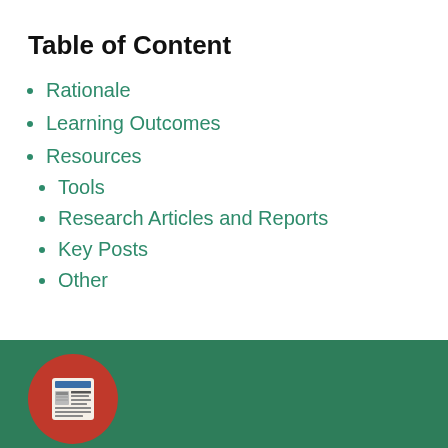Table of Content
Rationale
Learning Outcomes
Resources
Tools
Research Articles and Reports
Key Posts
Other
[Figure (illustration): Newspaper/document icon on a red circle, on a dark green background section at the bottom of the page]